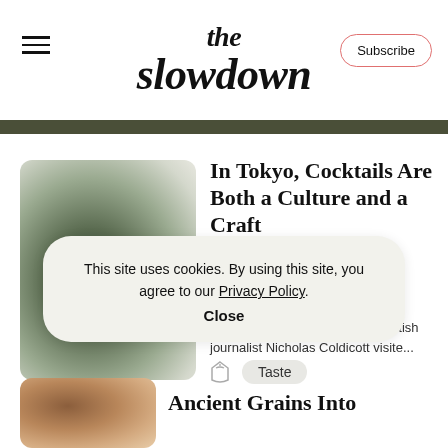the slowdown
[Figure (photo): Blurred dark green gradient photo thumbnail for Tokyo cocktails article]
In Tokyo, Cocktails Are Both a Culture and a Craft
For three years, Tokyo-based British journalist Nicholas Coldicott visite...
Taste
This site uses cookies. By using this site, you agree to our Privacy Policy.
Close
[Figure (photo): Blurred warm brown gradient photo thumbnail for Ancient Grains article]
Ancient Grains Into